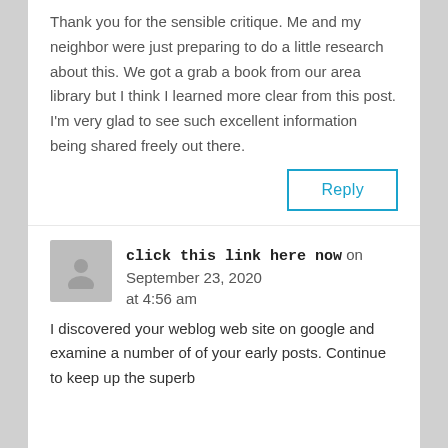Thank you for the sensible critique. Me and my neighbor were just preparing to do a little research about this. We got a grab a book from our area library but I think I learned more clear from this post. I'm very glad to see such excellent information being shared freely out there.
Reply
click this link here now on September 23, 2020 at 4:56 am
I discovered your weblog web site on google and examine a number of of your early posts. Continue to keep up the superb